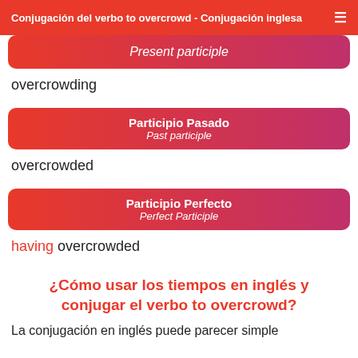Conjugación del verbo to overcrowd - Conjugación inglesa
Present participle
overcrowding
Participio Pasado / Past participle
overcrowded
Participio Perfecto / Perfect Participle
having overcrowded
¿Cómo usar los tiempos en inglés y conjugar el verbo to overcrowd?
La conjugación en inglés puede parecer simple